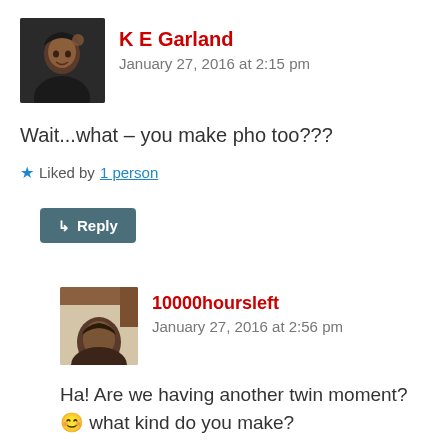[Figure (photo): Profile photo of K E Garland, a person smiling with hand near head]
K E Garland
January 27, 2016 at 2:15 pm
Wait...what – you make pho too???
★ Liked by 1 person
↳ Reply
[Figure (photo): Profile photo of 10000hoursleft, partial face/hair visible]
10000hoursleft
January 27, 2016 at 2:56 pm
Ha! Are we having another twin moment? 😊 what kind do you make?
★ Liked by 1 person